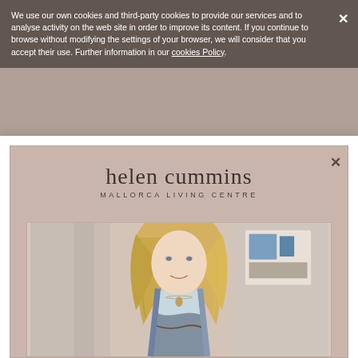We use our own cookies and third-party cookies to provide our services and to analyse activity on the web site in order to improve its content. If you continue to browse without modifying the settings of your browser, we will consider that you accept their use. Further information in our cookies Policy.
[Figure (screenshot): Helen Cummins Mallorca Living Centre modal popup showing logo text and portrait photo of a blonde woman smiling, wearing a patterned dress, in an interior setting with artwork visible in background]